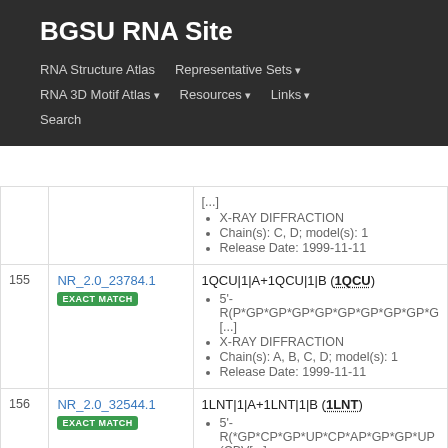BGSU RNA Site
RNA Structure Atlas | Representative Sets ▾ | RNA 3D Motif Atlas ▾ | Resources ▾ | Links ▾ | Search
| # | ID | Details |
| --- | --- | --- |
|  |  | [...]
X-RAY DIFFRACTION
Chain(s): C, D; model(s): 1
Release Date: 1999-11-11 |
| 155 | NR_2.0_23784.1
EXACT MATCH | 1QCU|1|A+1QCU|1|B (1QCU)
5'-R(P*GP*GP*GP*GP*GP*GP*GP*GP*G [...]
X-RAY DIFFRACTION
Chain(s): A, B, C, D; model(s): 1
Release Date: 1999-11-11 |
| 156 | NR_2.0_32544.1
EXACT MATCH | 1LNT|1|A+1LNT|1|B (1LNT)
5'-R(*GP*CP*GP*UP*CP*AP*GP*GP*UP (CBV[...] |